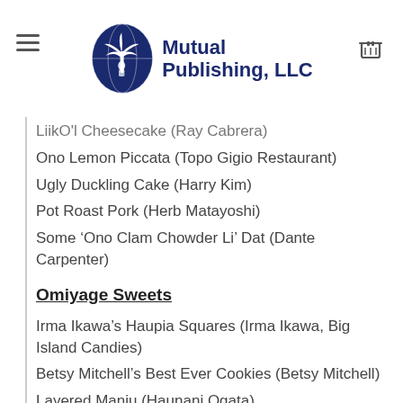Mutual Publishing, LLC
LiikO'l Cheesecake (Ray Cabrera)
Ono Lemon Piccata (Topo Gigio Restaurant)
Ugly Duckling Cake (Harry Kim)
Pot Roast Pork (Herb Matayoshi)
Some ‘Ono Clam Chowder Li’ Dat (Dante Carpenter)
Omiyage Sweets
Irma Ikawa’s Haupia Squares (Irma Ikawa, Big Island Candies)
Betsy Mitchell’s Best Ever Cookies (Betsy Mitchell)
Layered Manju (Haunani Ogata)
Kathy’s Custard Pie (Kathy Higaki)